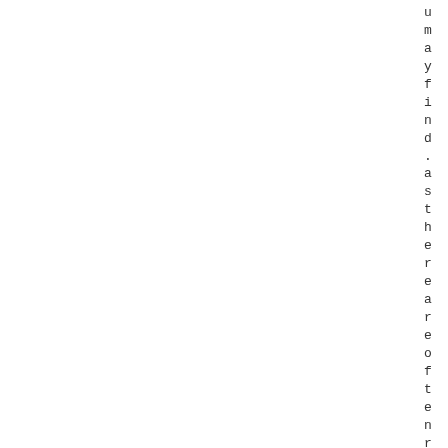u may find .as there are often record